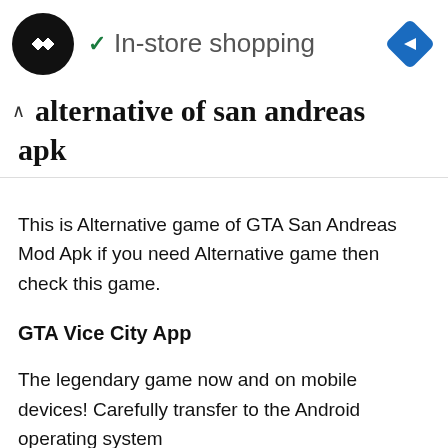In-store shopping
alternative of san andreas apk
This is Alternative game of GTA San Andreas Mod Apk if you need Alternative game then check this game.
GTA Vice City App
The legendary game now and on mobile devices! Carefully transfer to the Android operating system